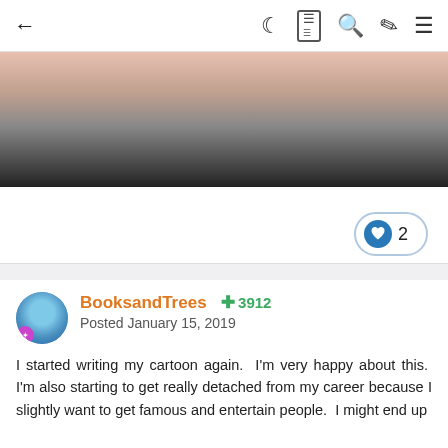← ☾ 📰 🔍 ✏ ≡
[Figure (photo): Partial view of a person lying on what appears to be a dark round object on a carpet/floor, wearing blue and green clothing. Image is cropped and partially visible.]
[Figure (other): Heart/like button showing count of 2, with a blue circle heart icon, inside a rounded rectangle border.]
BooksandTrees  +3912
Posted January 15, 2019
I started writing my cartoon again.  I'm very happy about this.  I'm also starting to get really detached from my career because I slightly want to get famous and entertain people.  I might end up